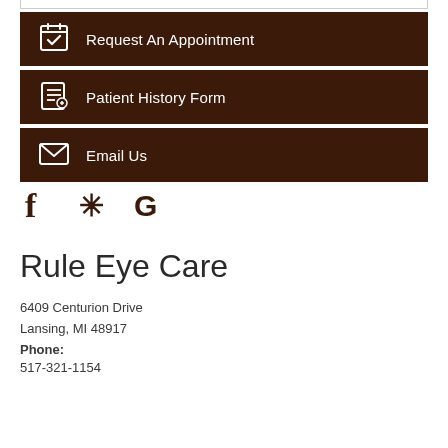Request An Appointment
Patient History Form
Email Us
[Figure (infographic): Social media icons: Facebook (f), Yelp (asterisk/burst), Google (G) in dark brown color]
Rule Eye Care
6409 Centurion Drive
Lansing, MI 48917
Phone:
517-321-1154